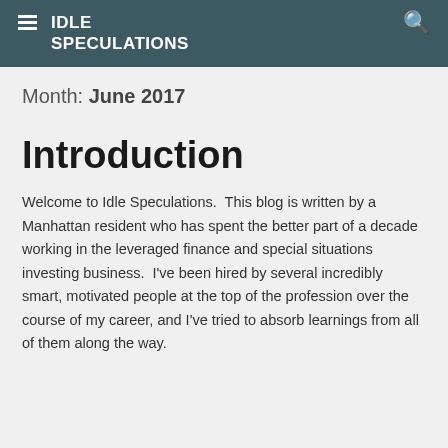IDLE SPECULATIONS
Month: June 2017
Introduction
Welcome to Idle Speculations.  This blog is written by a Manhattan resident who has spent the better part of a decade working in the leveraged finance and special situations investing business.  I've been hired by several incredibly smart, motivated people at the top of the profession over the course of my career, and I've tried to absorb learnings from all of them along the way.